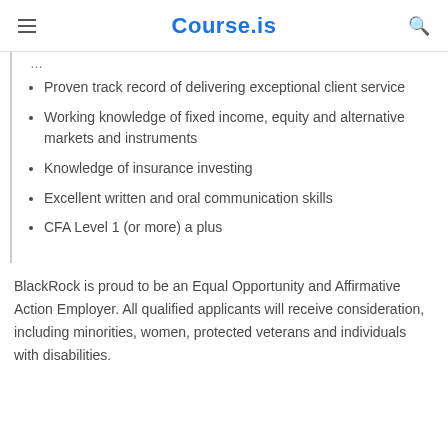Course.is
Proven track record of delivering exceptional client service
Working knowledge of fixed income, equity and alternative markets and instruments
Knowledge of insurance investing
Excellent written and oral communication skills
CFA Level 1 (or more) a plus
BlackRock is proud to be an Equal Opportunity and Affirmative Action Employer. All qualified applicants will receive consideration, including minorities, women, protected veterans and individuals with disabilities.